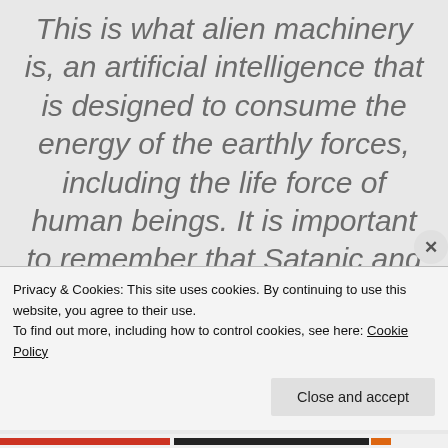This is what alien machinery is, an artificial intelligence that is designed to consume the energy of the earthly forces, including the life force of human beings. It is important to remember that Satanic and Luciferian hierarchies are nothing more than parasites. They need this creation to exist and they exalt themselves in their parasitism and possession of humanity and the earth. As
Privacy & Cookies: This site uses cookies. By continuing to use this website, you agree to their use. To find out more, including how to control cookies, see here: Cookie Policy